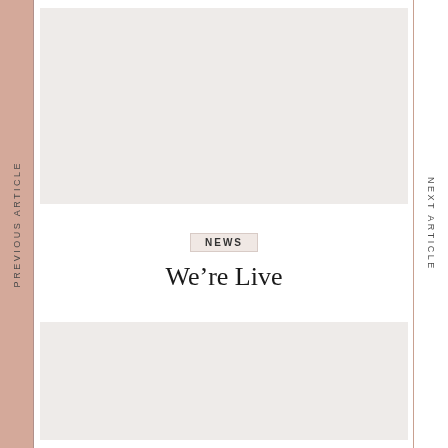PREVIOUS ARTICLE
NEXT ARTICLE
[Figure (photo): Top image placeholder, light gray/beige background]
NEWS
We're Live
[Figure (photo): Bottom image placeholder, light gray/beige background]